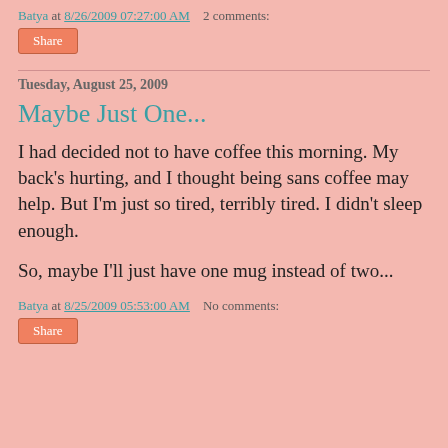Batya at 8/26/2009 07:27:00 AM    2 comments:
Share
Tuesday, August 25, 2009
Maybe Just One...
I had decided not to have coffee this morning. My back's hurting, and I thought being sans coffee may help. But I'm just so tired, terribly tired. I didn't sleep enough.

So, maybe I'll just have one mug instead of two...
Batya at 8/25/2009 05:53:00 AM    No comments:
Share